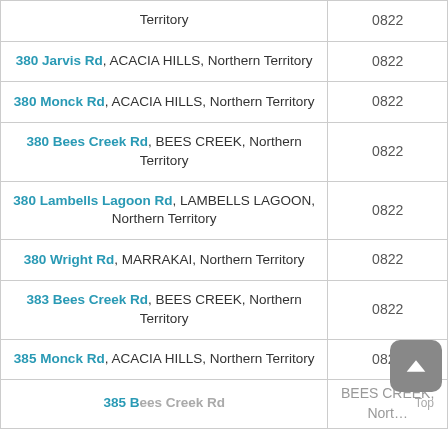| Address | Postcode |
| --- | --- |
| [partial] Territory | 0822 |
| 380 Jarvis Rd, ACACIA HILLS, Northern Territory | 0822 |
| 380 Monck Rd, ACACIA HILLS, Northern Territory | 0822 |
| 380 Bees Creek Rd, BEES CREEK, Northern Territory | 0822 |
| 380 Lambells Lagoon Rd, LAMBELLS LAGOON, Northern Territory | 0822 |
| 380 Wright Rd, MARRAKAI, Northern Territory | 0822 |
| 383 Bees Creek Rd, BEES CREEK, Northern Territory | 0822 |
| 385 Monck Rd, ACACIA HILLS, Northern Territory | 0822 |
| 385 Bees Creek Rd, BEES CREEK, Northern Territory [partial] | ... |